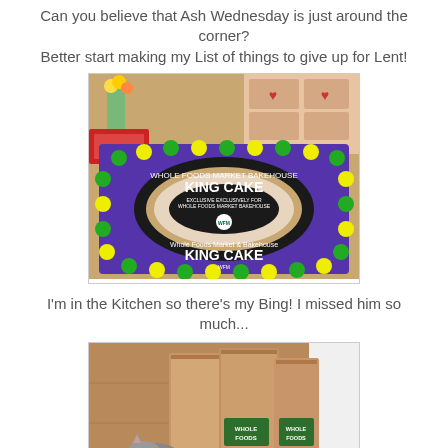Can you believe that Ash Wednesday is just around the corner?
Better start making my List of things to give up for Lent!
[Figure (photo): A King Cake box from Whole Foods Market & Bakehouse, purple with green and yellow polka dots, showing the cake inside through a clear window. Other bakery boxes visible in the background with flowers.]
I'm in the Kitchen so there's my Bing! I missed him so much...
[Figure (photo): A cat peeking out from behind brown paper grocery bags on a wooden floor.]